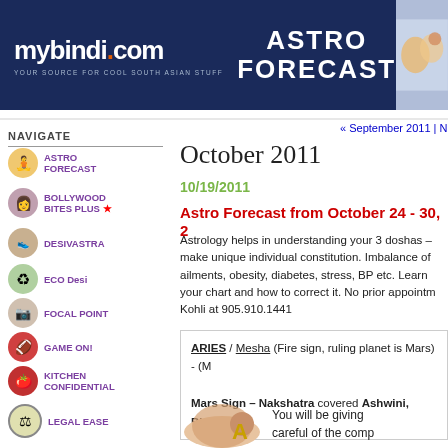mybindi.com - YOUR SOURCE FOR COOL SOUTH ASIAN STUFF | ASTRO FORECAST
NAVIGATE
ASTRO FORECAST
BOLLYWOOD BITES PLUS
DESIVASTRA
ECO Desi
FOCAL POINT
GAME ON!
KITCHEN CONFIDENTIAL
LEGAL EASE
LISTEN UP!
MIND MANTRA
MY BODY MY TEMPLE
« September 2011 | N
October 2011
10/19/2011
Astro Forecast from October 24 - 30, 2
Astrology helps in understanding your 3 doshas – make unique individual constitution. Imbalance of ailments, obesity, diabetes, stress, BP etc. Learn your chart and how to correct it. No prior appointm Kohli at 905.910.1441
ARIES / Mesha (Fire sign, ruling planet is Mars) - (M
Mars Sign – Nakshatra covered Ashwini, Bharani,
You will be giving careful of the comp